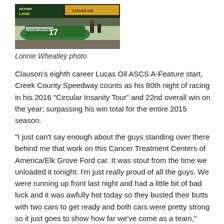[Figure (photo): Racing car in victory lane with Lucas Oil branding and signage visible]
Lonnie Wheatley photo
Clauson's eighth career Lucas Oil ASCS A-Feature start, Creek County Speedway counts as his 80th night of racing in his 2016 "Circular Insanity Tour" and 22nd overall win on the year; surpassing his win total for the entire 2015 season.
"I just can't say enough about the guys standing over there behind me that work on this Cancer Treatment Centers of America/Elk Grove Ford car. It was stout from the time we unloaded it tonight. I'm just really proud of all the guys. We were running up front last night and had a little bit of bad luck and it was awfully hot today so they busted their butts with two cars to get ready and both cars were pretty strong so it just goes to show how far we've come as a team," said a sweat soaked Bryan Clauson in Victory Lane.